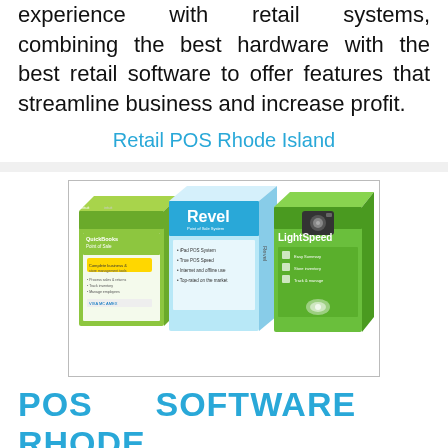experience with retail systems, combining the best hardware with the best retail software to offer features that streamline business and increase profit.
Retail POS Rhode Island
[Figure (illustration): Three retail POS software product boxes: QuickBooks Point of Sale (green), Revel (light blue), and LightSpeed (green), arranged side by side.]
POS SOFTWARE RHODE ISLAND